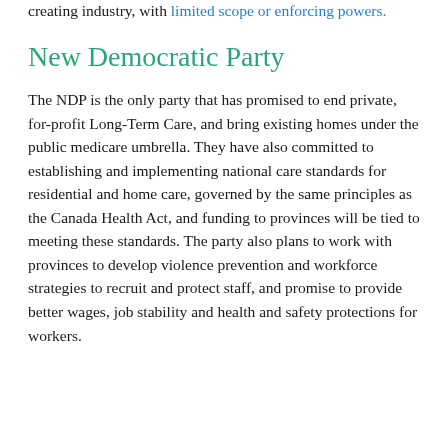creating industry, with limited scope or enforcing powers.
New Democratic Party
The NDP is the only party that has promised to end private, for-profit Long-Term Care, and bring existing homes under the public medicare umbrella. They have also committed to establishing and implementing national care standards for residential and home care, governed by the same principles as the Canada Health Act, and funding to provinces will be tied to meeting these standards. The party also plans to work with provinces to develop violence prevention and workforce strategies to recruit and protect staff, and promise to provide better wages, job stability and health and safety protections for workers.